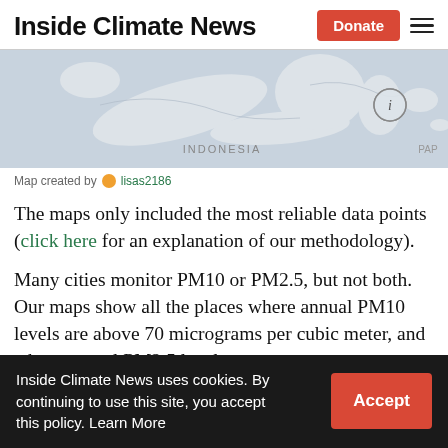Inside Climate News
[Figure (map): Partial world map showing Indonesia region, light blue-gray background with landmasses in light gray/white. Info button (i) in circle visible on right side. 'INDONESIA' text label visible near bottom center.]
Map created by lisas2186
The maps only included the most reliable data points (click here for an explanation of our methodology).
Many cities monitor PM10 or PM2.5, but not both. Our maps show all the places where annual PM10 levels are above 70 micrograms per cubic meter, and where annual PM2.5 levels
Inside Climate News uses cookies. By continuing to use this site, you accept this policy. Learn More